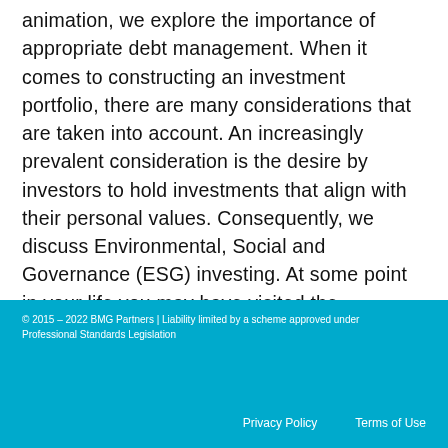animation, we explore the importance of appropriate debt management. When it comes to constructing an investment portfolio, there are many considerations that are taken into account. An increasingly prevalent consideration is the desire by investors to hold investments that align with their personal values. Consequently, we discuss Environmental, Social and Governance (ESG) investing. At some point in your life you may have visited the supermarket and come away with more than you had originally anticipated,
© 2015 – 2022 BMG Partners | Liability limited by a scheme approved under Professional Standards Legislation
Privacy Policy    Terms of Use